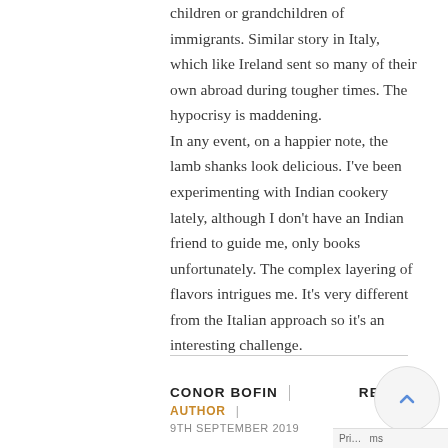children or grandchildren of immigrants. Similar story in Italy, which like Ireland sent so many of their own abroad during tougher times. The hypocrisy is maddening.
In any event, on a happier note, the lamb shanks look delicious. I've been experimenting with Indian cookery lately, although I don't have an Indian friend to guide me, only books unfortunately. The complex layering of flavors intrigues me. It's very different from the Italian approach so it's an interesting challenge.
CONOR BOFIN | REPLY
AUTHOR |
9TH SEPTEMBER 2019